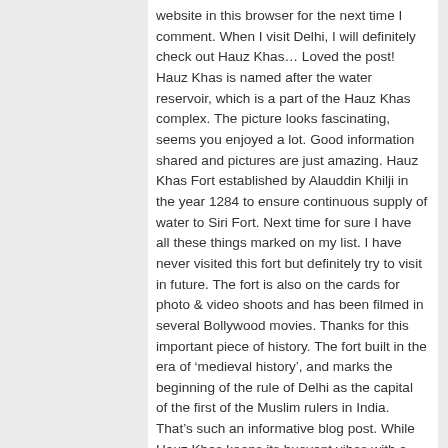website in this browser for the next time I comment. When I visit Delhi, I will definitely check out Hauz Khas… Loved the post! Hauz Khas is named after the water reservoir, which is a part of the Hauz Khas complex. The picture looks fascinating, seems you enjoyed a lot. Good information shared and pictures are just amazing. Hauz Khas Fort established by Alauddin Khilji in the year 1284 to ensure continuous supply of water to Siri Fort. Next time for sure I have all these things marked on my list. I have never visited this fort but definitely try to visit in future. The fort is also on the cards for photo & video shoots and has been filmed in several Bollywood movies. Thanks for this important piece of history. The fort built in the era of 'medieval history', and marks the beginning of the rule of Delhi as the capital of the first of the Muslim rulers in India. That's such an informative blog post. While Hauz Khas keeps its buoyant vibes with a wide range of modern restaurants, pubs, cafés, shopping places, and boutiques, it also retains its old-world charm through the historical complex that houses many structures from the Sultanate era. While Hauz Khas keeps its buoyant vibes with a wide range of modern restaurants, pubs, cafés, shopping places, and boutiques, it also retains its old-world charm through the historical complex that houses many...